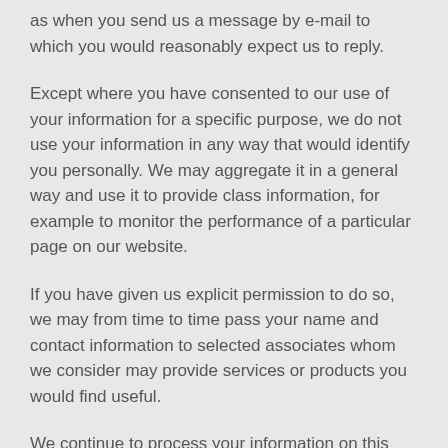as when you send us a message by e-mail to which you would reasonably expect us to reply.
Except where you have consented to our use of your information for a specific purpose, we do not use your information in any way that would identify you personally. We may aggregate it in a general way and use it to provide class information, for example to monitor the performance of a particular page on our website.
If you have given us explicit permission to do so, we may from time to time pass your name and contact information to selected associates whom we consider may provide services or products you would find useful.
We continue to process your information on this basis until you withdraw your consent or it can be reasonably assumed that your consent no longer exists.
You may withdraw your consent at any time by